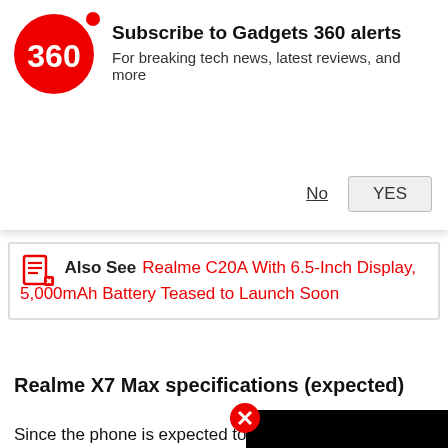[Figure (infographic): Gadgets 360 subscription notification banner with red circular logo showing '360', bold title 'Subscribe to Gadgets 360 alerts', subtitle 'For breaking tech news, latest reviews, and more', with 'No' text link and 'YES' button]
Also See  Realme C20A With 6.5-Inch Display, 5,000mAh Battery Teased to Launch Soon
Realme X7 Max specifications (expected)
Since the phone is expected to be a rebranded Realme GT Neo, the Realme X7 Max may c inch Samsung Super AMOLED full-l pixels) display with 120Hz refresh ra sampling rate, and 91.7 percent scr will be powered by the MediaTek Dimensity 1200 SoC